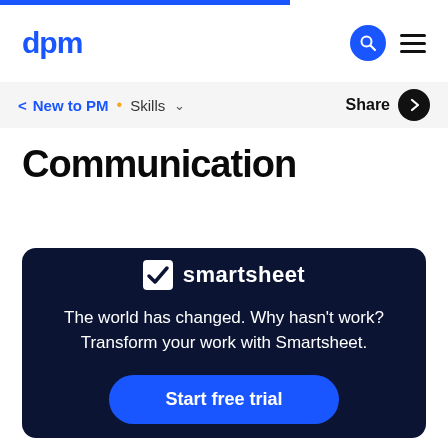dpm
< New to PM • Skills ∨   Share ↗
Communication
[Figure (infographic): Smartsheet advertisement card on dark navy background with logo, tagline 'The world has changed. Why hasn't work? Transform your work with Smartsheet.' and a 'Start free trial' button.]